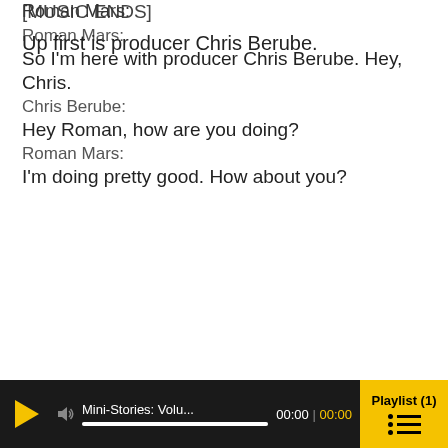Roman Mars:
Up first is producer Chris Berube.
[MUSIC ENDS]
Roman Mars:
So I'm here with producer Chris Berube. Hey, Chris.
Chris Berube:
Hey Roman, how are you doing?
Roman Mars:
I'm doing pretty good. How about you?
[Figure (screenshot): Audio player bar with play button, volume icon, track title 'Mini-Stories: Volu...', progress bar, time display '00:00 | 00:00', and yellow Playlist (1) button with list icon]